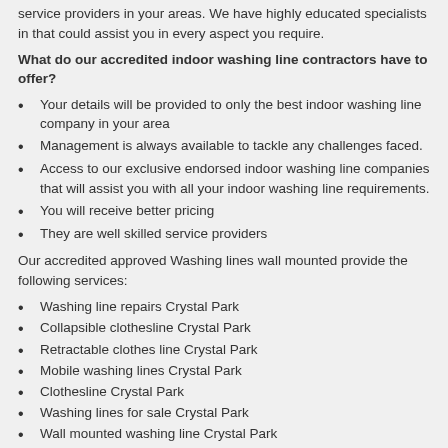service providers in your areas. We have highly educated specialists in that could assist you in every aspect you require.
What do our accredited indoor washing line contractors have to offer?
Your details will be provided to only the best indoor washing line company in your area
Management is always available to tackle any challenges faced.
Access to our exclusive endorsed indoor washing line companies that will assist you with all your indoor washing line requirements.
You will receive better pricing
They are well skilled service providers
Our accredited approved Washing lines wall mounted provide the following services:
Washing line repairs Crystal Park
Collapsible clothesline Crystal Park
Retractable clothes line Crystal Park
Mobile washing lines Crystal Park
Clothesline Crystal Park
Washing lines for sale Crystal Park
Wall mounted washing line Crystal Park
Indoor washing line Crystal Park
Washing line suppliers Crystal Park
Washing line Crystal Park
Rotating washing line Crystal Park
Washing line supply Crystal Park